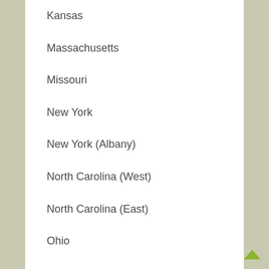Kansas
Massachusetts
Missouri
New York
New York (Albany)
North Carolina (West)
North Carolina (East)
Ohio
Pennsylvania